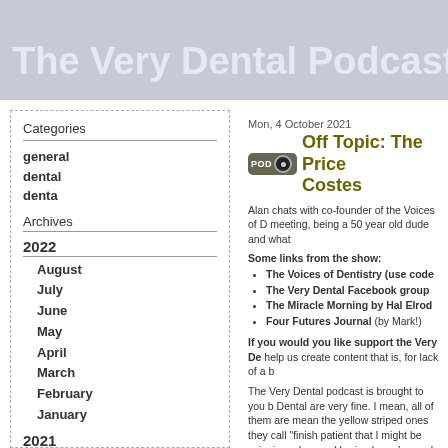The Very Dental Podcast N
Categories
general
dental
denta
Archives
2022
August
July
June
May
April
March
February
January
2021
December
November
October
Mon, 4 October 2021
Off Topic: The Price Costes
Alan chats with co-founder of the Voices of D meeting, being a 50 year old dude and what
Some links from the show:
The Voices of Dentistry (use code
The Very Dental Facebook group
The Miracle Morning by Hal Elrod
Four Futures Journal (by Mark!)
If you would you like support the Very De help us create content that is, for lack of a b
The Very Dental podcast is brought to you b Dental are very fine. I mean, all of them are mean the yellow striped ones they call "finish patient that I might be spinning a bur on. Ve simple and easy. I use them to finish crown p you try them you're going to find a ton of pla of the package and single use means they'r appointment! Go check them out at verydem